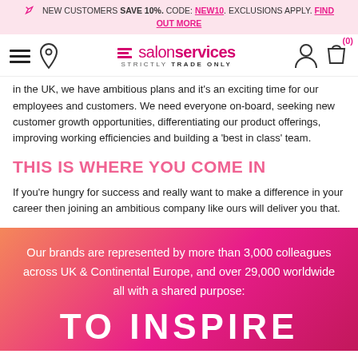NEW CUSTOMERS SAVE 10%. CODE: NEW10. EXCLUSIONS APPLY. FIND OUT MORE
[Figure (logo): Salon Services logo with hamburger menu, location pin, user icon, and cart icon]
in the UK, we have ambitious plans and it's an exciting time for our employees and customers. We need everyone on-board, seeking new customer growth opportunities, differentiating our product offerings, improving working efficiencies and building a 'best in class' team.
THIS IS WHERE YOU COME IN
If you're hungry for success and really want to make a difference in your career then joining an ambitious company like ours will deliver you that.
Our brands are represented by more than 3,000 colleagues across UK & Continental Europe, and over 29,000 worldwide all with a shared purpose:
TO INSPIRE